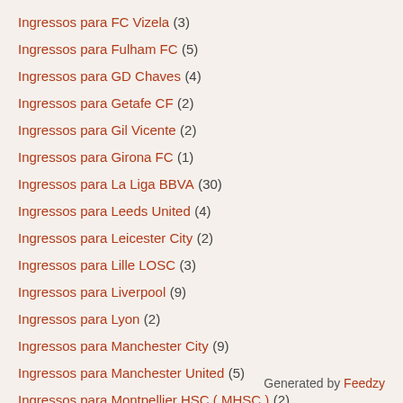Ingressos para FC Vizela (3)
Ingressos para Fulham FC (5)
Ingressos para GD Chaves (4)
Ingressos para Getafe CF (2)
Ingressos para Gil Vicente (2)
Ingressos para Girona FC (1)
Ingressos para La Liga BBVA (30)
Ingressos para Leeds United (4)
Ingressos para Leicester City (2)
Ingressos para Lille LOSC (3)
Ingressos para Liverpool (9)
Ingressos para Lyon (2)
Ingressos para Manchester City (9)
Ingressos para Manchester United (5)
Ingressos para Montpellier HSC ( MHSC ) (2)
Generated by Feedzy